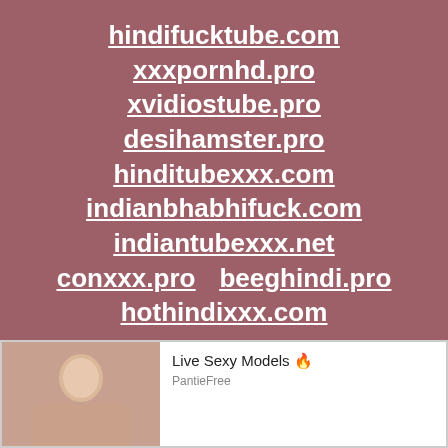hindifucktube.com
xxxpornhd.pro
xvidiostube.pro
desihamster.pro
hinditubexxx.com
indianbhabhifuck.com
indiantubexxx.net
conxxx.pro    beeghindi.pro
hothindixxx.com
[Figure (photo): Advertisement banner showing a person photo on left and text 'Live Sexy Models' with source 'PantiFree' on right, white background with border.]